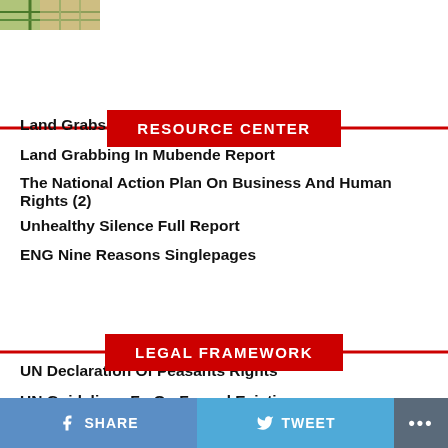[Figure (photo): Small thumbnail photo showing a green and tan outdoor scene, partially visible at top left]
RESOURCE CENTER
Land Grabs At Gunpoint Report
Land Grabbing In Mubende Report
The National Action Plan On Business And Human Rights (2)
Unhealthy Silence Full Report
ENG Nine Reasons Singlepages
LEGAL FRAMEWORK
UN Declaration Of Peasants Rights
UN Guidelines Fn On Forced Eviction
SHARE   TWEET   ...